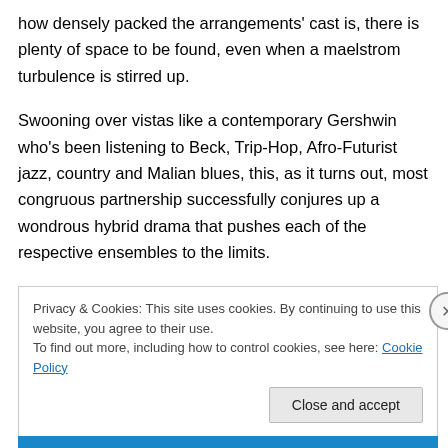how densely packed the arrangements' cast is, there is plenty of space to be found, even when a maelstrom turbulence is stirred up.
Swooning over vistas like a contemporary Gershwin who's been listening to Beck, Trip-Hop, Afro-Futurist jazz, country and Malian blues, this, as it turns out, most congruous partnership successfully conjures up a wondrous hybrid drama that pushes each of the respective ensembles to the limits.
Privacy & Cookies: This site uses cookies. By continuing to use this website, you agree to their use. To find out more, including how to control cookies, see here: Cookie Policy